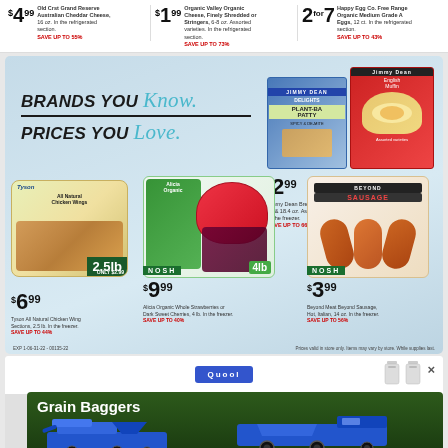$4.99 Old Crst Grand Reserve Australian Cheddar Cheese, 16 oz. In the refrigerated section. SAVE UP TO 55%
$1.99 Organic Valley Organic Cheese, Finely Shredded or Stringers, 6-8 oz. Assorted varieties. In the refrigerated section. SAVE UP TO 73%
2 for $7 Happy Egg Co. Free Range Organic Medium Grade A Eggs, 12 ct. In the refrigerated section. SAVE UP TO 43%
[Figure (infographic): Grocery store ad with light blue background. Text reads BRANDS YOU Know, PRICES YOU Love. Products shown: Jimmy Dean Delights Plant-Based Patty, Jimmy Dean English Muffins, Tyson All Natural Chicken Wings, Alicia Organic Whole Strawberries or Dark Sweet Cherries (NOSH), Beyond Meat Beyond Sausage (NOSH). Prices: $2.99 Jimmy Dean, $6.99 Tyson, $9.99 NOSH produce, $3.99 Beyond Sausage.]
$2.99 Jimmy Dean Breakfast Sandwiches, 17 & 18.4 oz. Assorted varieties. In the freezer. SAVE UP TO 66%
$6.99 Tyson All Natural Chicken Wing Sections, 2.5 lb. In the freezer. SAVE UP TO 44%
$9.99 Alicia Organic Whole Strawberries or Dark Sweet Cherries, 4 lb. In the freezer. SAVE UP TO 40%
$3.99 Beyond Meat Beyond Sausage, Hot, Italian, 14 oz. In the freezer. SAVE UP TO 56%
Prices valid in store only. Items may vary by store. While supplies last.
[Figure (infographic): Advertisement for Grain Baggers showing blue grain bagging equipment machinery on dark green background.]
Grain Baggers